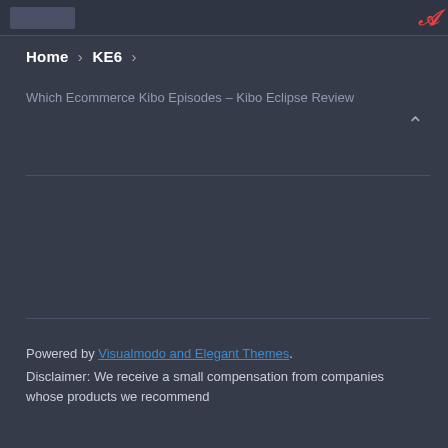Home > KE6 >
Which Ecommerce Kibo Episodes – Kibo Eclipse Review
Powered by Visualmodo and Elegant Themes. Disclaimer: We receive a small compensation from companies whose products we recommend